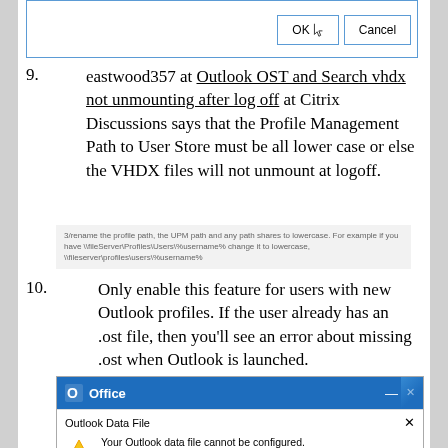[Figure (screenshot): Dialog box top portion showing OK and Cancel buttons with cursor on OK button]
9. eastwood357 at Outlook OST and Search vhdx not unmounting after log off at Citrix Discussions says that the Profile Management Path to User Store must be all lower case or else the VHDX files will not unmount at logoff.
[Figure (screenshot): Note box: 3/rename the profile path, the UPM path and any path shares to lowercase. For example if you have \fileServer\Profiles\Users\%username% change it to lowercase, \fileserver\profiles\users\%username%]
10. Only enable this feature for users with new Outlook profiles. If the user already has an .ost file, then you’ll see an error about missing .ost when Outlook is launched.
[Figure (screenshot): Microsoft Office dialog showing Outlook Data File error: Your Outlook data file cannot be configured. C:\Users\admin.CORP\Appdata\Local\Microsoft\Outlook\admin@corp.local.ost]